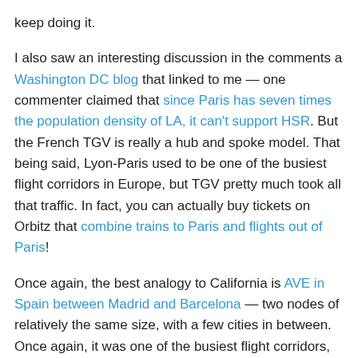keep doing it.
I also saw an interesting discussion in the comments a Washington DC blog that linked to me — one commenter claimed that since Paris has seven times the population density of LA, it can't support HSR. But the French TGV is really a hub and spoke model. That being said, Lyon-Paris used to be one of the busiest flight corridors in Europe, but TGV pretty much took all that traffic. In fact, you can actually buy tickets on Orbitz that combine trains to Paris and flights out of Paris!
Once again, the best analogy to California is AVE in Spain between Madrid and Barcelona — two nodes of relatively the same size, with a few cities in between. Once again, it was one of the busiest flight corridors, but rail has picked up the majority of passengers. Not only to the Bay and LA